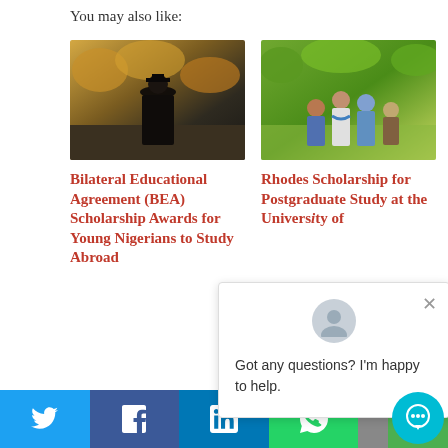You may also like:
[Figure (photo): A student in graduation cap and gown seen from behind, standing outdoors with autumn trees in background]
[Figure (photo): Group of students sitting and talking outdoors in a garden/park setting]
Bilateral Educational Agreement (BEA) Scholarship Awards for Young Nigerians to Study Abroad
Rhodes Scholarship for Postgraduate Study at the University of
Got any questions? I'm happy to help.